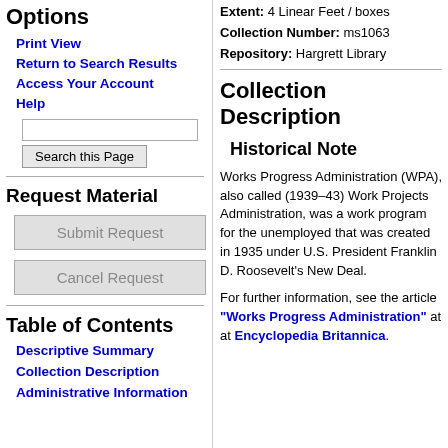Options
Print View
Return to Search Results
Access Your Account
Help
Request Material
Table of Contents
Descriptive Summary
Collection Description
Administrative Information
Extent: 4 Linear Feet / boxes
Collection Number: ms1063
Repository: Hargrett Library
Collection Description
Historical Note
Works Progress Administration (WPA), also called (1939–43) Work Projects Administration, was a work program for the unemployed that was created in 1935 under U.S. President Franklin D. Roosevelt's New Deal.
For further information, see the article "Works Progress Administration" at at Encyclopedia Britannica.